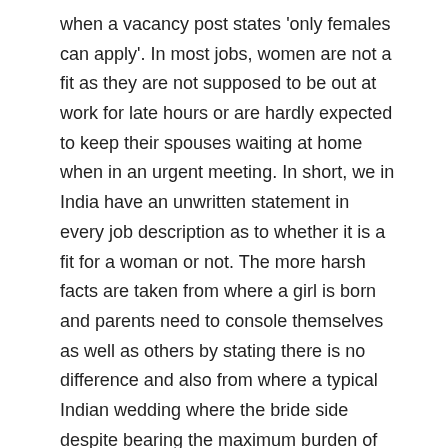when a vacancy post states 'only females can apply'. In most jobs, women are not a fit as they are not supposed to be out at work for late hours or are hardly expected to keep their spouses waiting at home when in an urgent meeting. In short, we in India have an unwritten statement in every job description as to whether it is a fit for a woman or not. The more harsh facts are taken from where a girl is born and parents need to console themselves as well as others by stating there is no difference and also from where a typical Indian wedding where the bride side despite bearing the maximum burden of give-ups is considered as lower or less respectable side.
Those who believe the women to be behind their success should also start worrying now as the gender issues would not allow all of you to have one lady luck even behind you.
The few who have fought the discrimination in the air and have been fortunate enough to come to the top are those who are